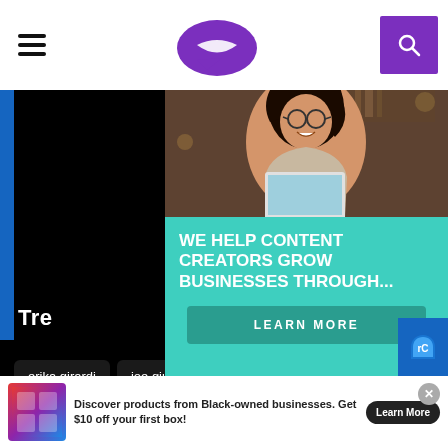[Figure (screenshot): Website header with hamburger menu icon on the left, purple lip/chat bubble logo in the center, and purple search button on the right]
[Figure (photo): Advertisement overlay with 'PARTNER NETWORK' label, photo of a smiling woman with glasses and curly hair using a laptop, teal background with text 'WE HELP CONTENT CREATORS GROW BUSINESSES THROUGH...' and a 'LEARN MORE' button]
Tr
erika girardi
joe giudice
joe gorga
kyle richards
lisa rinna
lisa vanderpump
melissa gorga
real housewives
real housewives blog
real housewives blogger
[Figure (screenshot): Bottom advertisement banner: 'Discover products from Black-owned businesses. Get $10 off your first box!' with Learn More button and X close button]